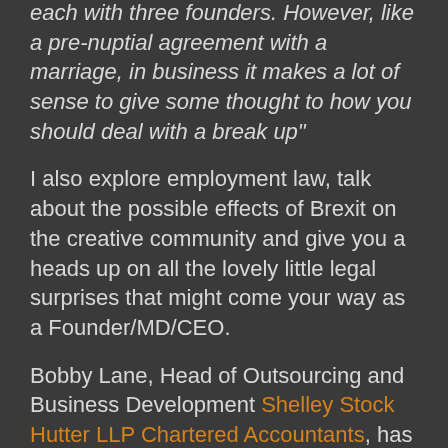each with three founders. However, like a pre-nuptial agreement with a marriage, in business it makes a lot of sense to give some thought to how you should deal with a break up"
I also explore employment law, talk about the possible effects of Brexit on the creative community and give you a heads up on all the lovely little legal surprises that might come your way as a Founder/MD/CEO.
Bobby Lane, Head of Outsourcing and Business Development Shelley Stock Hutter LLP Chartered Accountants, has a sunny take on post Brexit Britain to contrast with my decidedly gloomy one.
Bobby says: "I believe there are more opportunities for creative businesses than there were before